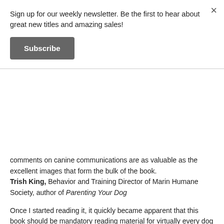Sign up for our weekly newsletter. Be the first to hear about great new titles and amazing sales!
Subscribe
comments on canine communications are as valuable as the excellent images that form the bulk of the book. Trish King, Behavior and Training Director of Marin Humane Society, author of Parenting Your Dog
Once I started reading it, it quickly became apparent that this book should be mandatory reading material for virtually every dog owner. Brenda's description of the canine language and the contexts in which they occur is very well documented. Ali Brown, author of Scaredy Dog! Understanding & Rehabilitating Your Reactive Dog
Author Brenda Aloff is a professional dog trainer specializing in problem behavior. A large part of her practice consists of dogs that have been referred to her when traditional training